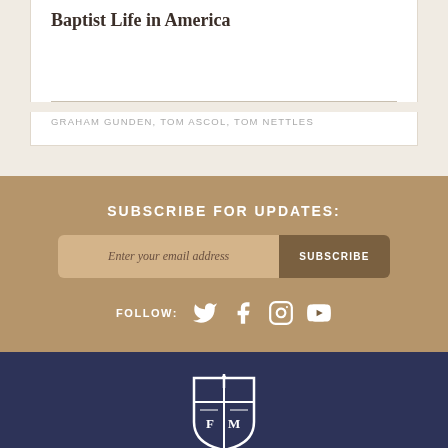Baptist Life in America
GRAHAM GUNDEN, TOM ASCOL, TOM NETTLES
SUBSCRIBE FOR UPDATES:
Enter your email address
SUBSCRIBE
FOLLOW:
[Figure (logo): Founders Ministries shield logo in white on navy background]